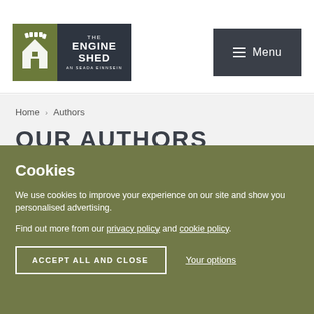[Figure (logo): The Engine Shed logo — green gear icon on left, dark background with THE ENGINE SHED / AN SEADA EINNSEIN text on right]
Menu
Home > Authors
OUR AUTHORS
SEARCH THE BLOG
Cookies
We use cookies to improve your experience on our site and show you personalised advertising.
Find out more from our privacy policy and cookie policy.
ACCEPT ALL AND CLOSE
Your options